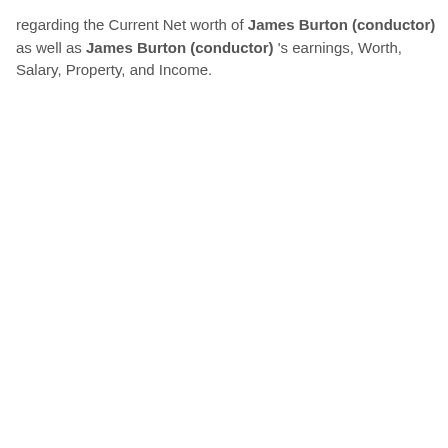regarding the Current Net worth of James Burton (conductor) as well as James Burton (conductor) 's earnings, Worth, Salary, Property, and Income.